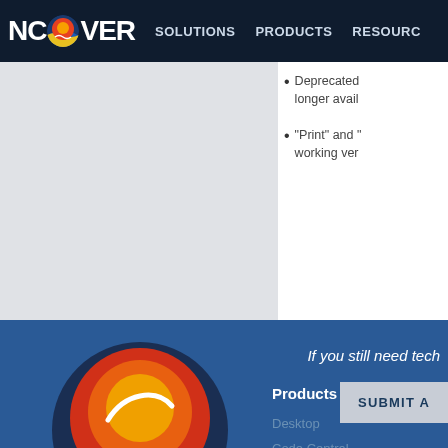NCOVER SOLUTIONS PRODUCTS RESOURC
Deprecated — longer avail...
"Print" and '...' working ver...
If you still need tech
SUBMIT A
[Figure (logo): NCOVER company logo icon — circular badge with red/orange flame, yellow and blue wave layers]
Products
Desktop
Code Central